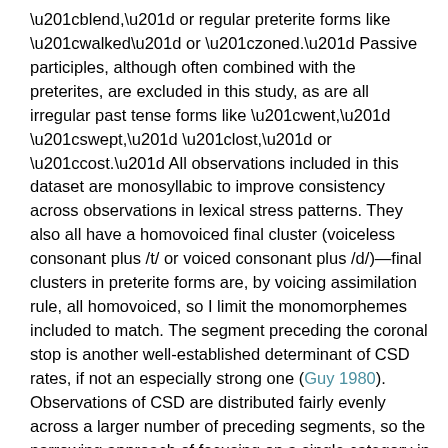“blend,” or regular preterite forms like “walked” or “zoned.” Passive participles, although often combined with the preterites, are excluded in this study, as are all irregular past tense forms like “went,” “swept,” “lost,” or “cost.” All observations included in this dataset are monosyllabic to improve consistency across observations in lexical stress patterns. They also all have a homovoiced final cluster (voiceless consonant plus /t/ or voiced consonant plus /d/)—final clusters in preterite forms are, by voicing assimilation rule, all homovoiced, so I limit the monomorphemes included to match. The segment preceding the coronal stop is another well-established determinant of CSD rates, if not an especially strong one (Guy 1980). Observations of CSD are distributed fairly evenly across a larger number of preceding segments, so the narrowing approach of focusing on a single category in this case would result in an insufficient amount of data. Preceding segment is instead controlled through the statistical analysis reported in Section 3, with six types of preceding segment distinguished: stop, fricative, liquid, nasal, sibilant, affricate. Of these, previous work